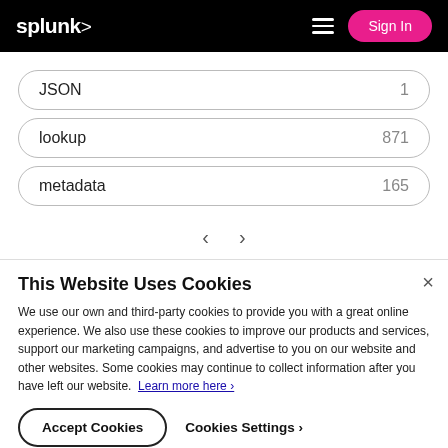splunk> Sign In
JSON 1
lookup 871
metadata 165
This Website Uses Cookies
We use our own and third-party cookies to provide you with a great online experience. We also use these cookies to improve our products and services, support our marketing campaigns, and advertise to you on our website and other websites. Some cookies may continue to collect information after you have left our website. Learn more here
Accept Cookies   Cookies Settings ›